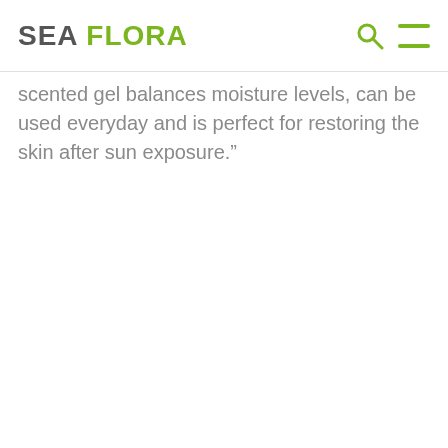SEA FLORA
scented gel balances moisture levels, can be used everyday and is perfect for restoring the skin after sun exposure.”